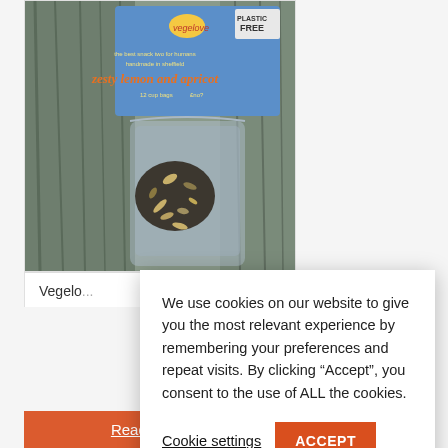[Figure (photo): Product photo of Vegelove brand 'zesty lemon and apricot' seed/nut mix in a clear plastic-free bag with a blue label, placed on a wooden surface]
Vegelo...
We use cookies on our website to give you the most relevant experience by remembering your preferences and repeat visits. By clicking “Accept”, you consent to the use of ALL the cookies.
Cookie settings
ACCEPT
Read more